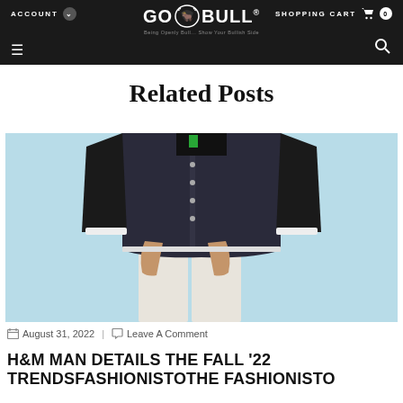ACCOUNT | GO BULL® | SHOPPING CART 0
Related Posts
[Figure (photo): A person wearing a dark navy varsity/letterman jacket with black leather sleeves and white trim, paired with cream/white wide-leg trousers. The background is light blue. The person is holding their trouser pockets. Head is cropped out of frame.]
August 31, 2022 | Leave A Comment
H&M MAN DETAILS THE FALL '22 TRENDSFASHIONISTOTHE FASHIONISTO